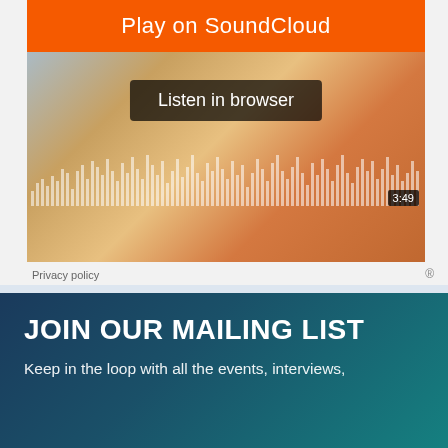[Figure (screenshot): SoundCloud embedded player showing 'Play on SoundCloud' orange button, 'Listen in browser' dark button overlay, audio waveform visualization, and 3:49 timer on a colorful nebula/galaxy background image]
Privacy policy
« Har Mar Superstar is coming to town!
Nick Bassett of Nothing – KZSC Interviews »
JOIN OUR MAILING LIST
Keep in the loop with all the events, interviews,